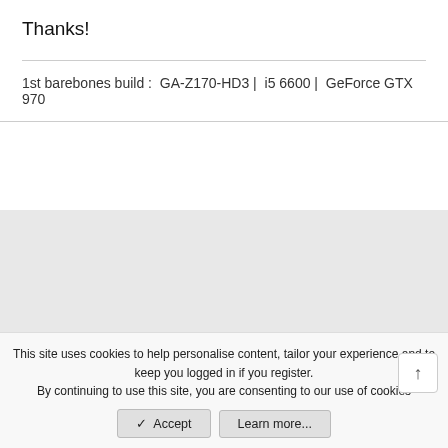Thanks!
1st barebones build :  GA-Z170-HD3 |  i5 6600 |  GeForce GTX 970
This site uses cookies to help personalise content, tailor your experience and to keep you logged in if you register.
By continuing to use this site, you are consenting to our use of cookies
✓ Accept
Learn more...